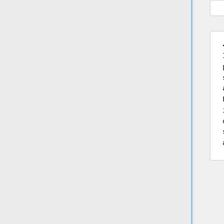Jeff Muizelaar
It would be nice if it was possible to get more summary information about a crash.
For example: What build ids does this crash all occur with? What operating system versions does this all occur with? etc.
Josh Matthews
I, like Jeff, would appreciate summaries of the data available - most recent 10 unique build ids, list of unique OS versions, range of uptimes, etc.
I would also be really interested in data about